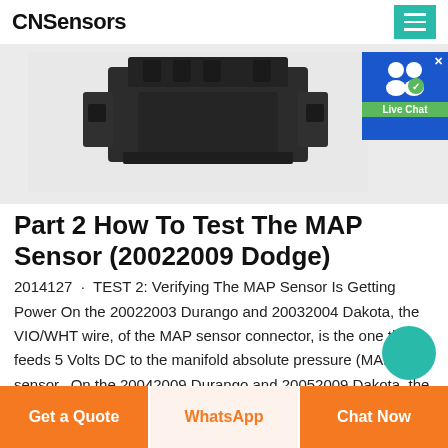CNSensors
[Figure (photo): Black plastic MAP sensor component photographed against a light gray background]
Part 2 How To Test The MAP Sensor (20022009 Dodge)
2014127 · TEST 2: Verifying The MAP Sensor Is Getting Power On the 20022003 Durango and 20032004 Dakota, the VIO/WHT wire, of the MAP sensor connector, is the one that feeds 5 Volts DC to the manifold absolute pressure (MAP) sensor.. On the 20042009 Durango and 20052009 Dakota, the YEL/PNK wire, of the MAP or